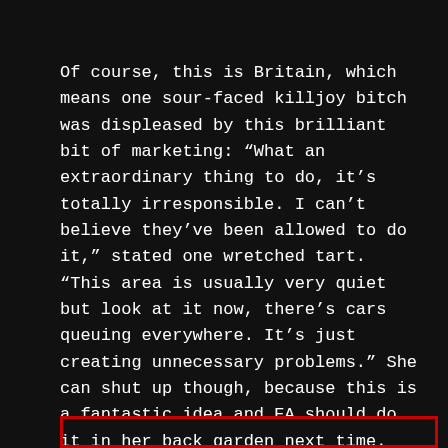Of course, this is Britain, which means one sour-faced killjoy bitch was displeased by this brilliant bit of marketing: “What an extraordinary thing to do, it’s totally irresponsible. I can’t believe they’ve been allowed to do it,” stated one wretched tart. “This area is usually very quiet but look at it now, there’s cars queuing everywhere. It’s just creating unnecessary problems.” She can shut up though, because this is a fantastic idea and EA should do it in her back garden next time.
[Thanking Budr]
[Figure (other): Red-bordered empty rectangle at the bottom of the page]